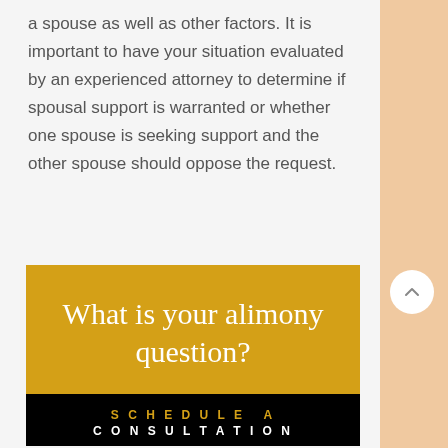a spouse as well as other factors. It is important to have your situation evaluated by an experienced attorney to determine if spousal support is warranted or whether one spouse is seeking support and the other spouse should oppose the request.
What is your alimony question?
SCHEDULE A CONSULTATION